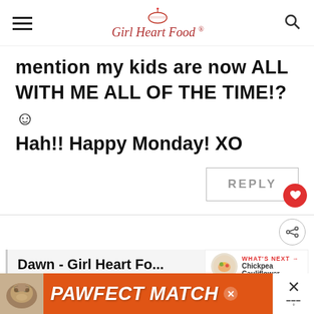Girl Heart Food
mention my kids are now ALL WITH ME ALL OF THE TIME!? ☺ Hah!! Happy Monday! XO
REPLY
WHAT'S NEXT → Chickpea Cauliflower...
Dawn - Girl Heart Fo...
March 19, 2020 at 12:11 pm
[Figure (screenshot): PAWFECT MATCH advertisement banner with cat image at bottom of page]